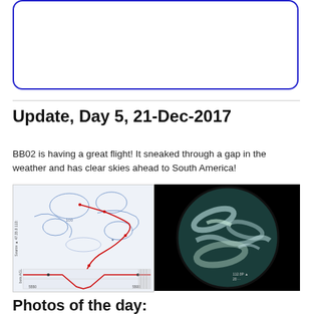[Figure (other): Blue rounded-rectangle border box, empty white interior]
Update, Day 5, 21-Dec-2017
BB02 is having a great flight! It sneaked through a gap in the weather and has clear skies ahead to South America!
[Figure (other): Two side-by-side images: left is a weather/flight track map with a red path and blue contour lines, labeled with coordinates and AGL altitude; right is a satellite image of Earth showing swirling cloud patterns on a dark background.]
Photos of the day: